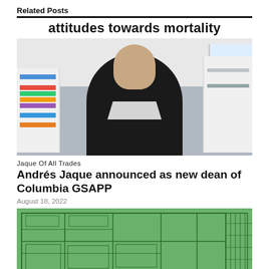Related Posts
attitudes towards mortality
[Figure (photo): Portrait photo of a man in a black sweater with a houndstooth collar shirt, standing in an office/studio with bookshelves and a window in the background.]
Jaque Of All Trades
Andrés Jaque announced as new dean of Columbia GSAPP
August 18, 2022
[Figure (engineering-diagram): Architectural floor plan or technical drawing rendered as dark green lines on a medium green background, showing rooms, walls, and structural elements.]